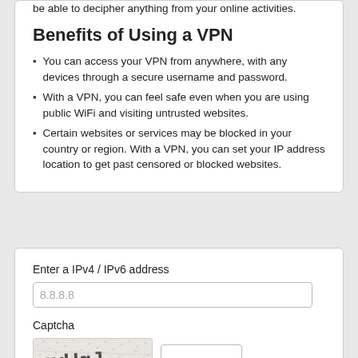be able to decipher anything from your online activities.
Benefits of Using a VPN
You can access your VPN from anywhere, with any devices through a secure username and password.
With a VPN, you can feel safe even when you are using public WiFi and visiting untrusted websites.
Certain websites or services may be blocked in your country or region. With a VPN, you can set your IP address location to get past censored or blocked websites.
Enter a IPv4 / IPv6 address
8.8.8.8
Captcha
[Figure (other): CAPTCHA image showing distorted text 'nvUgJ' on a noisy background]